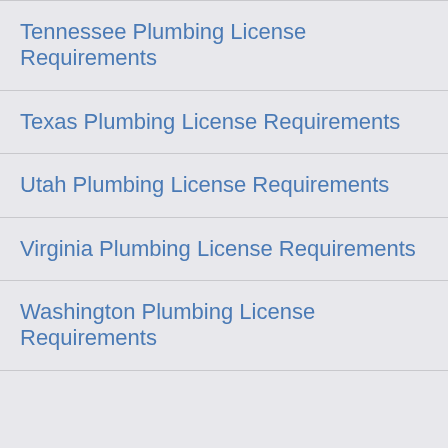Tennessee Plumbing License Requirements
Texas Plumbing License Requirements
Utah Plumbing License Requirements
Virginia Plumbing License Requirements
Washington Plumbing License Requirements